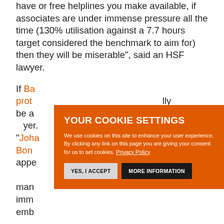have or free helplines you make available, if associates are under immense pressure all the time (130% utilisation against a 7.7 hours target considered the benchmark to aim for) then they will be miserable", said an HSF lawyer.
If Ba[kerMcKenzie's] prot[ocols]... lly be a[ble...] yer. "Joha[nnesburg]... Bon[d]... s appe[ared]... were man[agers]... imm[ediately]... emb[arrassed]...
[Figure (screenshot): Cookie consent modal overlay on orange background. Title: 'YOUR COOKIE SETTINGS'. Body text: 'We use cookies on this site to enhance your user experience. By clicking any link on this page you are giving your consent for us to set cookies. Privacy Policy'. Two buttons: 'YES, I ACCEPT' (light grey) and 'MORE INFORMATION' (dark/black).]
Some Allen & Overy staff were of the opinion that their managers were "Living in ivory towers but reasonably sensible", while others claimed that “Most of them seemed to disappear during the pandemic, except to pop up occasionally and complain how...